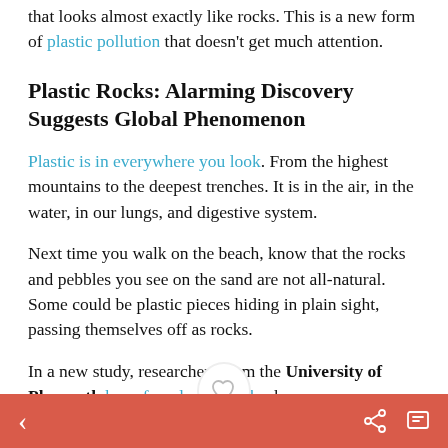that looks almost exactly like rocks. This is a new form of plastic pollution that doesn't get much attention.
Plastic Rocks: Alarming Discovery Suggests Global Phenomenon
Plastic is in everywhere you look. From the highest mountains to the deepest trenches. It is in the air, in the water, in our lungs, and digestive system.
Next time you walk on the beach, know that the rocks and pebbles you see on the sand are not all-natural. Some could be plastic pieces hiding in plain sight, passing themselves off as rocks.
In a new study, researchers from the University of Plymouth have found p rocks, known as